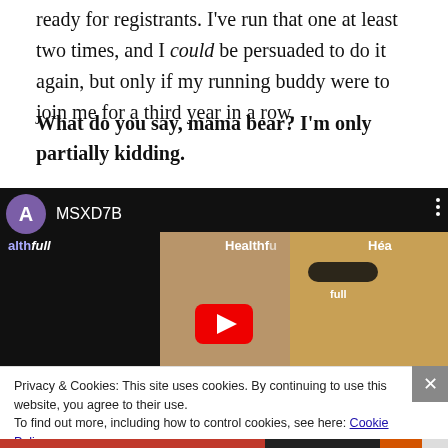ready for registrants. I've run that one at least two times, and I could be persuaded to do it again, but only if my running buddy were to join me for a third year in a row.
What do you say, mama bear? I'm only partially kidding.
[Figure (screenshot): Embedded YouTube video thumbnail showing two smiling women posing in front of a Healthfull branded backdrop. A purple avatar circle with letter A and channel name MSXD7B appears in the top-left corner. A red YouTube play button is visible at the bottom center.]
Privacy & Cookies: This site uses cookies. By continuing to use this website, you agree to their use.
To find out more, including how to control cookies, see here: Cookie Policy